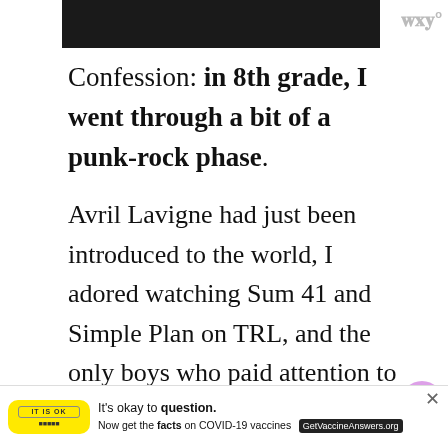[Figure (screenshot): Top banner with black background bar and grey logo watermark (www) at top right]
Confession: in 8th grade, I went through a bit of a punk-rock phase.
Avril Lavigne had just been introduced to the world, I adored watching Sum 41 and Simple Plan on TRL, and the only boys who paid attention to me all wore those weird pants with straps criss-crossing loosely along the back of them. (Sidenote: how is it that I never saw any awesome accidents resulting from
[Figure (infographic): Heart button (pink/purple circle with heart icon) with count 76, and share button below it on the right side]
[Figure (infographic): Bottom advertisement bar: yellow box with stamp logo, 'It’s okay to question.' text, 'Now get the facts on COVID-19 vaccines' and GetVaccineAnswers.org button, with X close button. Dark bar at very bottom with www logo.]